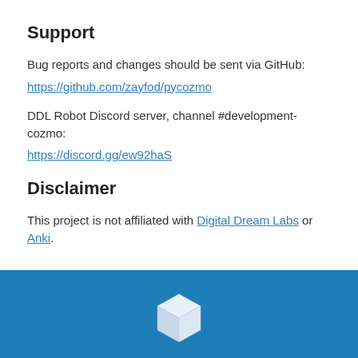Support
Bug reports and changes should be sent via GitHub:
https://github.com/zayfod/pycozmo
DDL Robot Discord server, channel #development-cozmo:
https://discord.gg/ew92haS
Disclaimer
This project is not affiliated with Digital Dream Labs or Anki.
[Figure (logo): White 3D cube icon on a blue background footer bar]